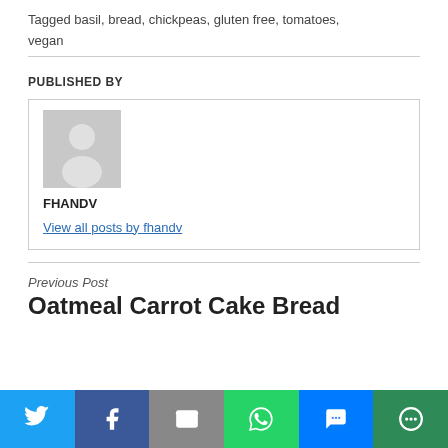Tagged basil, bread, chickpeas, gluten free, tomatoes, vegan
PUBLISHED BY
[Figure (other): Generic user avatar placeholder — grey background with silhouette icon]
FHANDV
View all posts by fhandv
Previous Post
Oatmeal Carrot Cake Bread
[Figure (infographic): Social sharing bar with Twitter, Facebook, Email, WhatsApp, SMS, and More buttons]